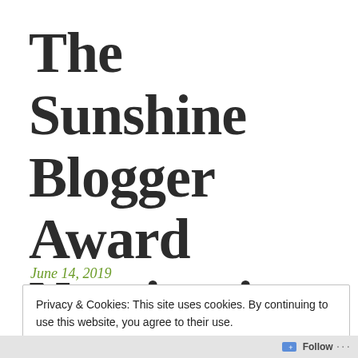The Sunshine Blogger Award Nomination
June 14, 2019
Privacy & Cookies: This site uses cookies. By continuing to use this website, you agree to their use.
To find out more, including how to control cookies, see here: Cookie Policy
Close and accept
Follow